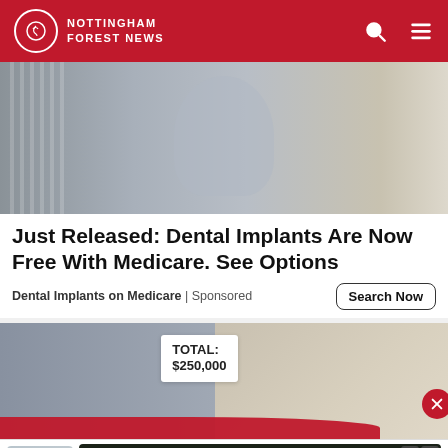NOTTINGHAM FOREST NEWS
[Figure (photo): Woman in grey dress walking on a sidewalk outdoors]
Just Released: Dental Implants Are Now Free With Medicare. See Options
Dental Implants on Medicare | Sponsored
[Figure (photo): Woman holding a receipt showing TOTAL: $250,000]
[Figure (screenshot): Mobile game ad showing Hold and Move with neon figures on a road]